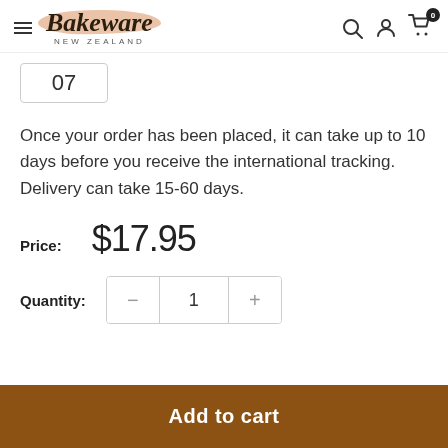[Figure (logo): Bakeware New Zealand logo with brush stroke background and hamburger menu, search, user, and cart icons]
07
Once your order has been placed, it can take up to 10 days before you receive the international tracking. Delivery can take 15-60 days.
Price:  $17.95
Quantity:  - 1 +
Add to cart